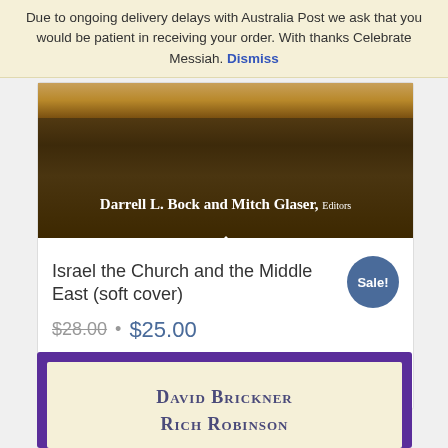Due to ongoing delivery delays with Australia Post we ask that you would be patient in receiving your order. With thanks Celebrate Messiah. Dismiss
[Figure (photo): Book cover showing 'Darrell L. Bock and Mitch Glaser, Editors' text on a dark brown background with warm tones at top]
Israel the Church and the Middle East (soft cover)
$28.00 • $25.00
Add to cart   Show Details
[Figure (photo): Book cover with purple border and cream interior showing 'David Brickner Rich Robinson' in small caps serif font]